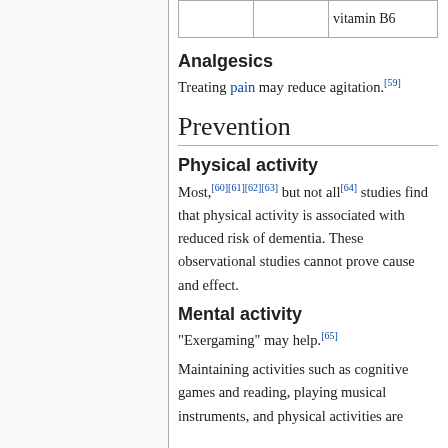|  |  | vitamin B6 |
| --- | --- | --- |
|  |  |  |
Analgesics
Treating pain may reduce agitation.[59]
Prevention
Physical activity
Most,[60][61][62][63] but not all[64] studies find that physical activity is associated with reduced risk of dementia. These observational studies cannot prove cause and effect.
Mental activity
"Exergaming" may help.[65]
Maintaining activities such as cognitive games and reading, playing musical instruments, and physical activities are